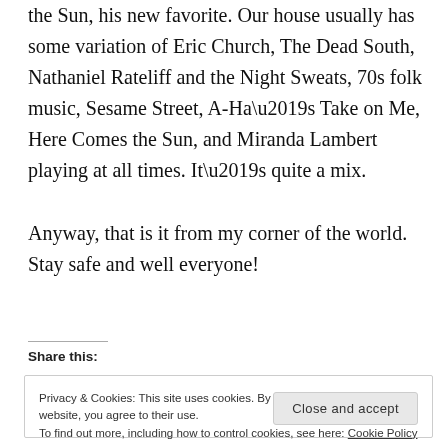the Sun, his new favorite. Our house usually has some variation of Eric Church, The Dead South, Nathaniel Rateliff and the Night Sweats, 70s folk music, Sesame Street, A-Ha’s Take on Me, Here Comes the Sun, and Miranda Lambert playing at all times. It’s quite a mix.
Anyway, that is it from my corner of the world. Stay safe and well everyone!
Share this:
Privacy & Cookies: This site uses cookies. By continuing to use this website, you agree to their use.
To find out more, including how to control cookies, see here: Cookie Policy
Close and accept